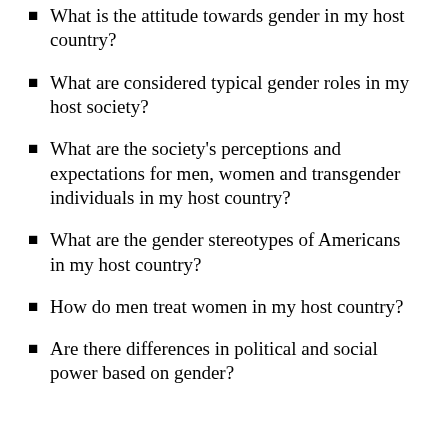What is the attitude towards gender in my host country?
What are considered typical gender roles in my host society?
What are the society's perceptions and expectations for men, women and transgender individuals in my host country?
What are the gender stereotypes of Americans in my host country?
How do men treat women in my host country?
Are there differences in political and social power based on gender?